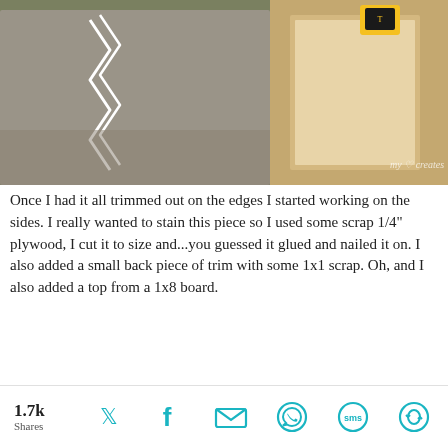[Figure (photo): Woodworking project materials on the ground including a shaped board with white zigzag design, wooden pieces, and a tape measure]
Once I had it all trimmed out on the edges I started working on the sides. I really wanted to stain this piece so I used some scrap 1/4" plywood, I cut it to size and...you guessed it glued and nailed it on. I also added a small back piece of trim with some 1x1 scrap. Oh, and I also added a top from a 1x8 board.
[Figure (photo): Close-up photo of a plywood board with pocket holes, clamped with blue clamps in a workshop setting]
1.7k Shares [Twitter] [Facebook] [Email] [WhatsApp] [SMS] [Share]